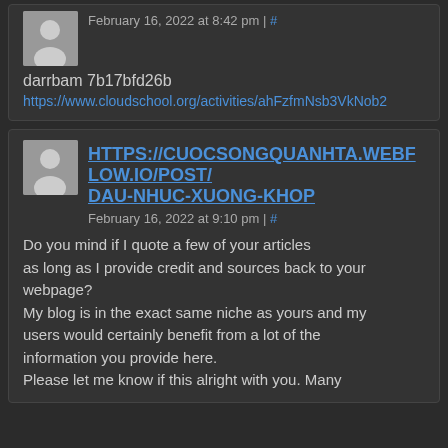February 16, 2022 at 8:42 pm | #
darrbam 7b17bfd26b
https://www.cloudschool.org/activities/ahFzfmNsb3VkNob2...
HTTPS://CUOCSONGQUANHTA.WEBFLOW.IO/POST/DAU-NHUC-XUONG-KHOP
February 16, 2022 at 9:10 pm | #
Do you mind if I quote a few of your articles as long as I provide credit and sources back to your webpage?
My blog is in the exact same niche as yours and my users would certainly benefit from a lot of the information you provide here.
Please let me know if this alright with you. Many